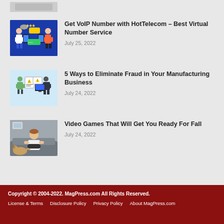[Figure (photo): Partial thumbnail image at top, cropped]
[Figure (illustration): VoIP illustration with two people texting on phones with chat bubbles, blue background]
Get VoIP Number with HotTelecom – Best Virtual Number Service
July 25, 2022
[Figure (illustration): Fraud in manufacturing illustration with warning signs and figures at computers]
5 Ways to Eliminate Fraud in Your Manufacturing Business
July 24, 2022
[Figure (photo): Man playing video games with a dog nearby]
Video Games That Will Get You Ready For Fall
July 24, 2022
Copyright © 2004-2022. MagPress.com All Rights Reserved. | License & Terms | Disclosure Policy | Privacy Policy | About MagPress.com